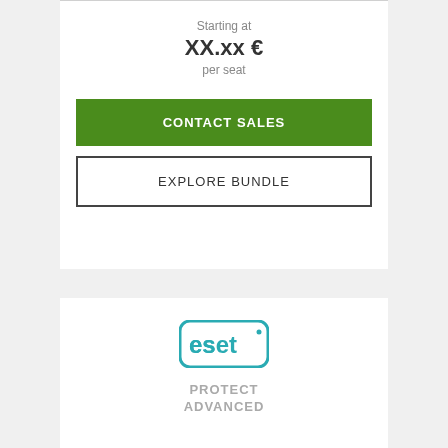Starting at
XX.xx €
per seat
CONTACT SALES
EXPLORE BUNDLE
[Figure (logo): ESET logo - teal rounded rectangle with 'eset' text inside]
PROTECT ADVANCED